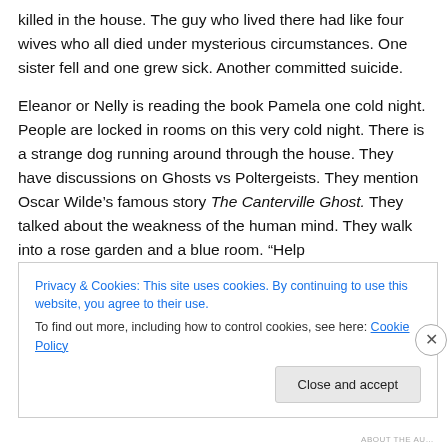killed in the house. The guy who lived there had like four wives who all died under mysterious circumstances. One sister fell and one grew sick. Another committed suicide.
Eleanor or Nelly is reading the book Pamela one cold night. People are locked in rooms on this very cold night. There is a strange dog running around through the house. They have discussions on Ghosts vs Poltergeists. They mention Oscar Wilde's famous story The Canterville Ghost. They talked about the weakness of the human mind. They walk into a rose garden and a blue room. “Help
Privacy & Cookies: This site uses cookies. By continuing to use this website, you agree to their use.
To find out more, including how to control cookies, see here: Cookie Policy